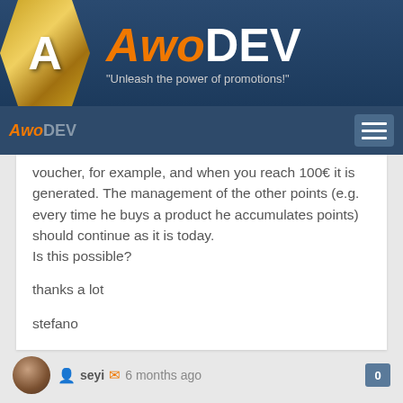[Figure (logo): AwoDev logo banner with gold hexagon A icon on dark blue background, orange italic 'Awo' and white bold 'DEV' brand name, tagline: "Unleash the power of promotions!"]
AwoDev
voucher, for example, and when you reach 100€ it is generated. The management of the other points (e.g. every time he buys a product he accumulates points) should continue as it is today.
Is this possible?

thanks a lot

stefano
seyi  6 months ago  0